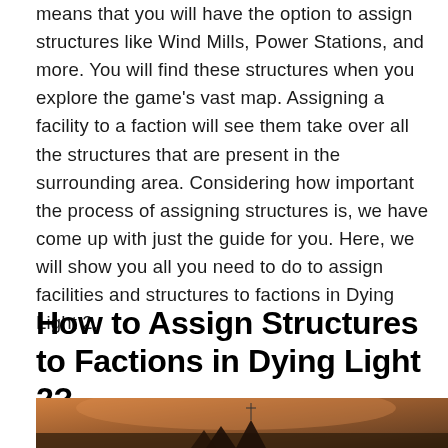means that you will have the option to assign structures like Wind Mills, Power Stations, and more. You will find these structures when you explore the game's vast map. Assigning a facility to a faction will see them take over all the structures that are present in the surrounding area. Considering how important the process of assigning structures is, we have come up with just the guide for you. Here, we will show you all you need to do to assign facilities and structures to factions in Dying Light 2.
How to Assign Structures to Factions in Dying Light 2?
[Figure (photo): Partial view of a Dying Light 2 game scene showing a dark atmospheric environment with warm orange/amber tones, partially cropped at the bottom of the page.]